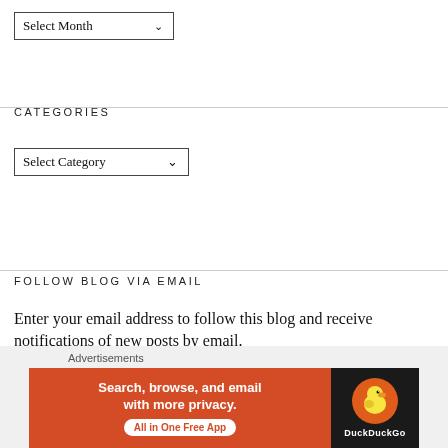Select Month
CATEGORIES
Select Category
FOLLOW BLOG VIA EMAIL
Enter your email address to follow this blog and receive notifications of new posts by email.
[Figure (other): DuckDuckGo advertisement banner with orange left panel saying 'Search, browse, and email with more privacy. All in One Free App' and dark right panel with DuckDuckGo logo]
Advertisements